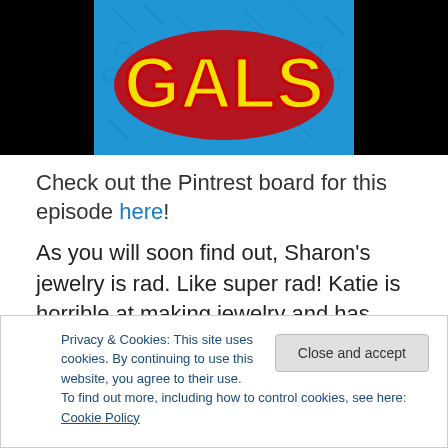[Figure (illustration): Header image with black background on sides and blue center panel showing 'GALS' text in large yellow bold letters with red outline, on a blue patterned background.]
Check out the Pintrest board for this episode here!
As you will soon find out, Sharon’s jewelry is rad. Like super rad! Katie is horrible at making jewelry and has been desperately waiting to record this episode so she can pick Sharon’s beautiful mind about what is going wrong with her attempts at making her own jewelry.
Privacy & Cookies: This site uses cookies. By continuing to use this website, you agree to their use.
To find out more, including how to control cookies, see here: Cookie Policy